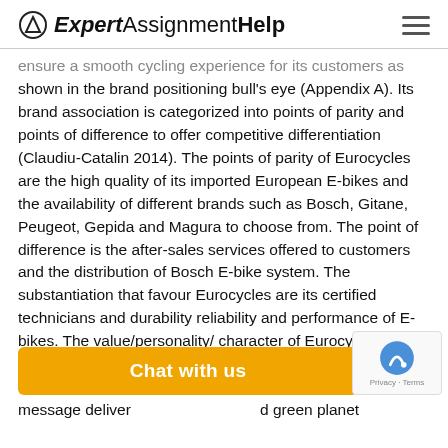ExpertAssignmentHelp
ensure a smooth cycling experience for its customers as shown in the brand positioning bull's eye (Appendix A). Its brand association is categorized into points of parity and points of difference to offer competitive differentiation (Claudiu-Catalin 2014). The points of parity of Eurocycles are the high quality of its imported European E-bikes and the availability of different brands such as Bosch, Gitane, Peugeot, Gepida and Magura to choose from. The point of difference is the after-sales services offered to customers and the distribution of Bosch E-bike system. The substantiation that favour Eurocycles are its certified technicians and durability reliability and performance of E-bikes. The value/personality/ character of Eurocycles lie with its work ethics and in the belief that quality is prominent over c[...]  relies on message deliver[...] d green planet